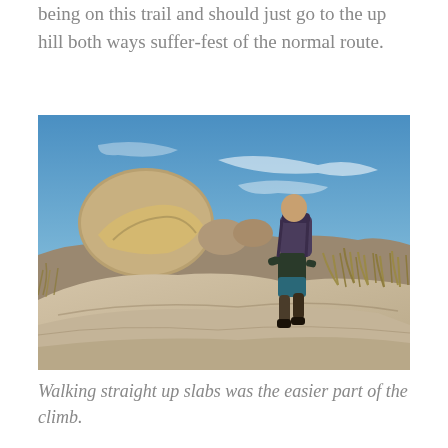being on this trail and should just go to the up hill both ways suffer-fest of the normal route.
[Figure (photo): A hiker with a backpack climbing steeply up rocky granite slabs, with large boulders and dry grasses visible, under a blue sky with wispy clouds.]
Walking straight up slabs was the easier part of the climb.